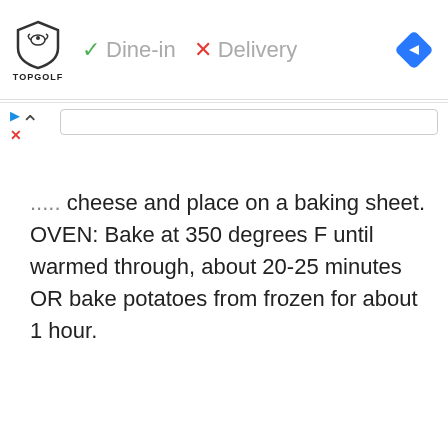[Figure (logo): Topgolf logo with shield/bird emblem and TOPGOLF text, followed by a green checkmark and 'Dine-in', a red X and 'Delivery' in gray, and a blue diamond navigation icon on the right]
[Figure (screenshot): Small blue play triangle and red X icons on the left margin below the header bar]
.... cheese and place on a baking sheet. OVEN: Bake at 350 degrees F until warmed through, about 20-25 minutes OR bake potatoes from frozen for about 1 hour.